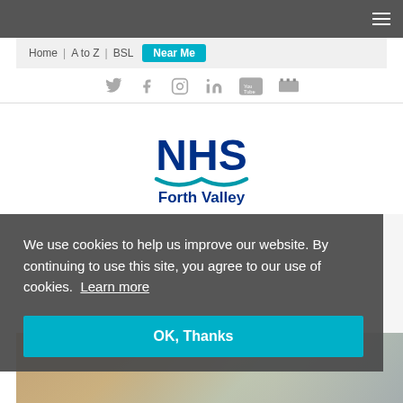NHS Forth Valley website header with hamburger menu, navigation bar: Home | A to Z | BSL | Near Me button, social media icons
[Figure (logo): NHS Forth Valley logo with blue NHS text and teal wave above 'Forth Valley' text]
We use cookies to help us improve our website. By continuing to use this site, you agree to our use of cookies. Learn more
OK, Thanks